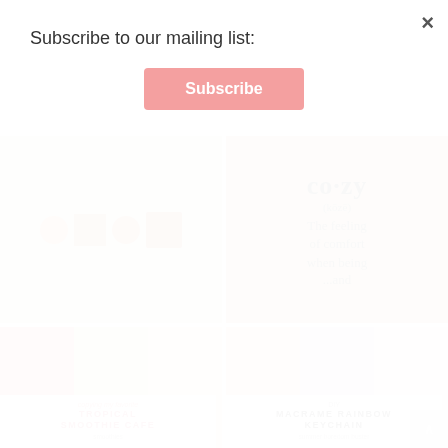Subscribe to our mailing list:
Subscribe
×
[Figure (photo): Flat lay of orange slice stickers and craft papers on white fluffy background]
[Figure (photo): Hand holding clipboard with printed definition: cozy (kōzē) The feeling of comfort when being... and]
[Figure (photo): Grid of three smoothie photos - strawberry, green, and pink smoothies]
copying my favorite
TROPICAL SMOOTHIE CAFE
smoothies
[Figure (photo): Grid of three photos showing macrame rainbow keychains and accessories]
DIY
MACRAME RAINBOW KEYCHAIN
summer boredom buster